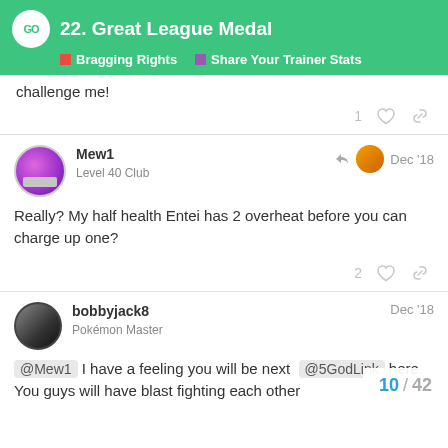22. Great League Medal — Bragging Rights | Share Your Trainer Stats
challenge me!
Mew1 — Level 40 Club — Dec '18
Really? My half health Entei has 2 overheat before you can charge up one?
bobbyjack8 — Pokémon Master — Dec '18
@Mew1 I have a feeling you will be next @5GodLink here. You guys will have blast fighting each other
10 / 42